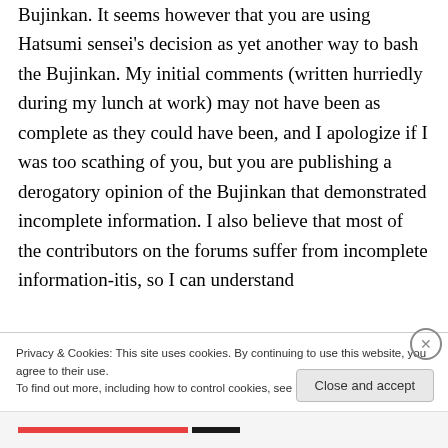Bujinkan. It seems however that you are using Hatsumi sensei's decision as yet another way to bash the Bujinkan. My initial comments (written hurriedly during my lunch at work) may not have been as complete as they could have been, and I apologize if I was too scathing of you, but you are publishing a derogatory opinion of the Bujinkan that demonstrated incomplete information. I also believe that most of the contributors on the forums suffer from incomplete information-itis, so I can understand
Privacy & Cookies: This site uses cookies. By continuing to use this website, you agree to their use.
To find out more, including how to control cookies, see here: Cookie Policy